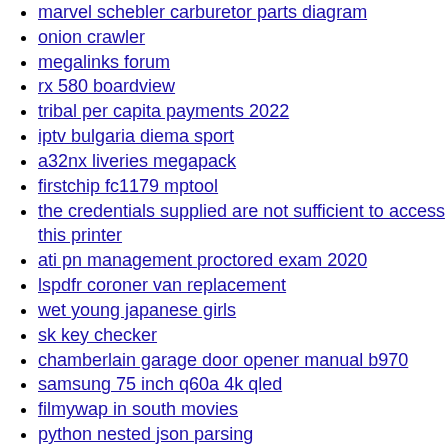marvel schebler carburetor parts diagram
onion crawler
megalinks forum
rx 580 boardview
tribal per capita payments 2022
iptv bulgaria diema sport
a32nx liveries megapack
firstchip fc1179 mptool
the credentials supplied are not sufficient to access this printer
ati pn management proctored exam 2020
lspdfr coroner van replacement
wet young japanese girls
sk key checker
chamberlain garage door opener manual b970
samsung 75 inch q60a 4k qled
filmywap in south movies
python nested json parsing
moodle suspend user account
ramrod display set granular progress forced
iframe css not working
hqplayer 4 desktop crack
xcelium xrun command
midi soundfonts
reshmi r nair facebook